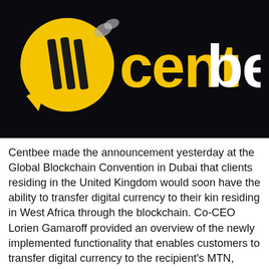[Figure (logo): Centbee logo on dark/black background. Left side shows a yellow speech-bubble coin shape with three dark vertical stripes. Right side shows the word 'centbee' in large text: 'cent' in yellow/gold and 'bee' in white, with a small bee icon near the top right of the circle.]
Centbee made the announcement yesterday at the Global Blockchain Convention in Dubai that clients residing in the United Kingdom would soon have the ability to transfer digital currency to their kin residing in West Africa through the blockchain. Co-CEO Lorien Gamaroff provided an overview of the newly implemented functionality that enables customers to transfer digital currency to the recipient's MTN, Vodafone, Tigo, or Airtel mobile money wallet as well as their personal bank account. People in the United